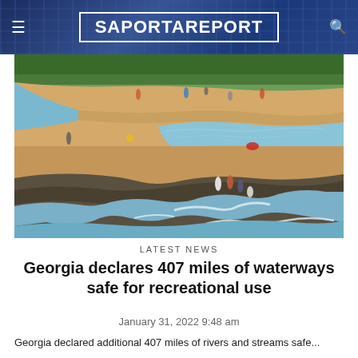SaportaReport
[Figure (photo): Aerial view of people recreating on and near a sandy riverbank with rocky outcrops and flowing water, surrounded by green trees.]
LATEST NEWS
Georgia declares 407 miles of waterways safe for recreational use
January 31, 2022 9:48 am
Georgia declared additional 407 miles of rivers and streams safe...